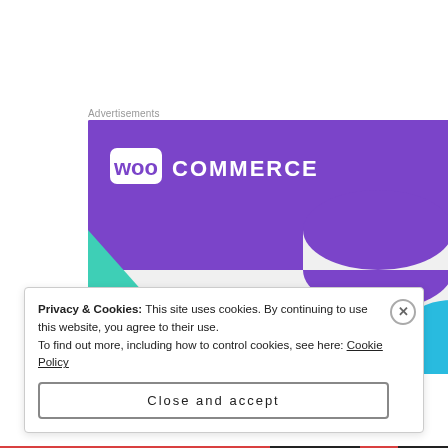Advertisements
[Figure (illustration): WooCommerce advertisement banner showing the WooCommerce logo on a purple background with teal and blue decorative shapes, and bold text reading 'How to start selling subscriptions online']
Privacy & Cookies: This site uses cookies. By continuing to use this website, you agree to their use.
To find out more, including how to control cookies, see here: Cookie Policy
Close and accept